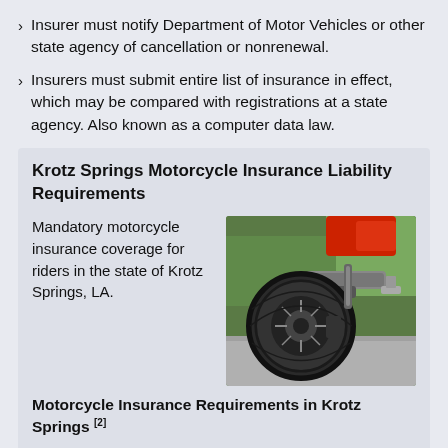Insurer must notify Department of Motor Vehicles or other state agency of cancellation or nonrenewal.
Insurers must submit entire list of insurance in effect, which may be compared with registrations at a state agency. Also known as a computer data law.
Krotz Springs Motorcycle Insurance Liability Requirements
Mandatory motorcycle insurance coverage for riders in the state of Krotz Springs, LA.
[Figure (photo): Close-up photo of a motorcycle rear wheel and tire on pavement, with trees in background and a red motorcycle body visible at top.]
Motorcycle Insurance Requirements in Krotz Springs [2]
Bodily injury liability coverage
Property damage liability coverage